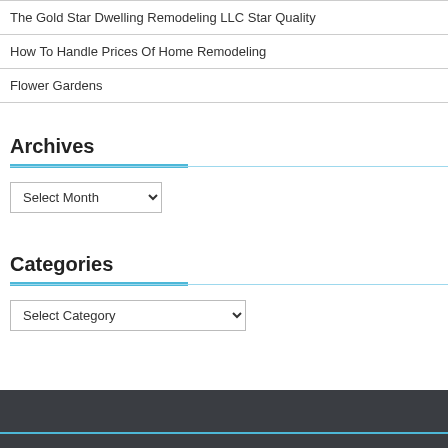The Gold Star Dwelling Remodeling LLC Star Quality
How To Handle Prices Of Home Remodeling
Flower Gardens
Archives
Select Month
Categories
Select Category